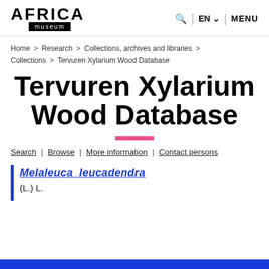[Figure (logo): Africa Museum logo with AFRICA text and 'museum' label on black bar]
Q | EN ∨ | MENU
Home > Research > Collections, archives and libraries > Collections > Tervuren Xylarium Wood Database
Tervuren Xylarium Wood Database
Search | Browse | More information | Contact persons
Melaleuca leucadendra (L.) L.